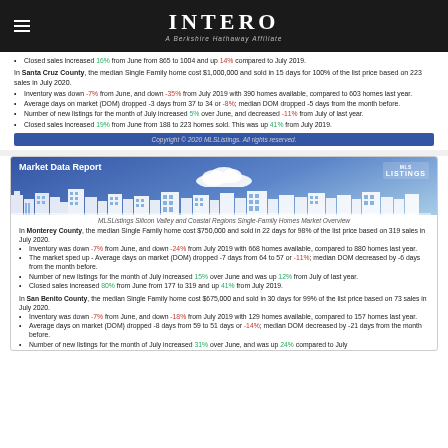INTERO
A Berkshire Hathaway Affiliate
Closed sales increased 16% from June from 865 to 1004 and up 14% compared to July 2019.
In Santa Cruz County, the median Single Family home cost $1,000,000 and sold in 15 days for 100% of the list price based on 223 sales in July 2020.
Inventory was down -7% from June, and down -35% from July 2019 with 390 homes available, compared to 603 homes last year.
Average days on market (DOM) dropped -3 days from 37 to 34 or -8%; median DOM dropped -5 days from the month before.
Number of new listings for the month of July increased 5% over June, and decreased -11% from July of last year.
Closed sales increased 19% from June from 188 to 223 homes sold. This was up 41% from July 2019.
Copyright © 2020 MLSListings. All rights reserved.
[Figure (illustration): Market Data Report banner with cityscape silhouette and MLS Listings logo on blue gradient background]
MLSListings Silicon Valley and Coastal Regions Single-Family Homes Market Overview
In Monterey County, the median Single Family home cost $750,000 and sold in 22 days for 98% of the list price based on 319 sales in July 2020.
Inventory was down -7% from June, and down -24% from July 2019 with 668 homes available, compared to 880 homes last year.
The market sped up - Average days on market (DOM) dropped -7 days from 64 to 57 or -11%; median DOM decreased by -6 days from the month before.
Number of new listings for the month of July increased 15% over June and was up 12% from July of last year.
Closed sales increased 80% from June from 177 to 319 and up 41% from July 2019.
In San Benito County, the median Single Family home cost $675,000 and sold in 30 days for 99% of the list price based on 73 sales in July 2020.
Inventory was down -7% from June, and down -18% from July 2019 with 129 homes available, compared to 157 homes last year.
Average days on market (DOM) dropped -8 days from 59 to 51 days or -14%; median DOM decreased by -21 days from the month before.
Number of new listings for the month of July increased 31% over June, and was up 24% compared to July